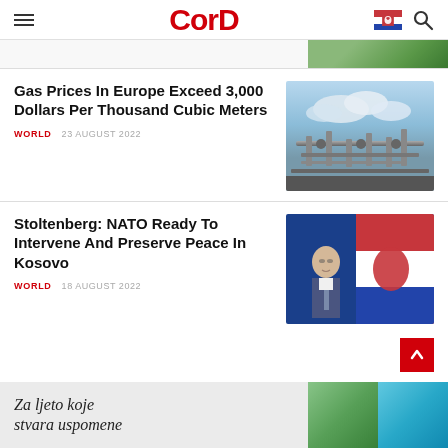CorD
[Figure (screenshot): Partial top image strip visible at top of page]
Gas Prices In Europe Exceed 3,000 Dollars Per Thousand Cubic Meters
WORLD   23 AUGUST 2022
[Figure (photo): Photo of industrial gas pipeline infrastructure against cloudy sky]
Stoltenberg: NATO Ready To Intervene And Preserve Peace In Kosovo
WORLD   18 AUGUST 2022
[Figure (photo): Photo of Stoltenberg at press conference with Serbian flag in background]
Za ljeto koje stvara uspomene